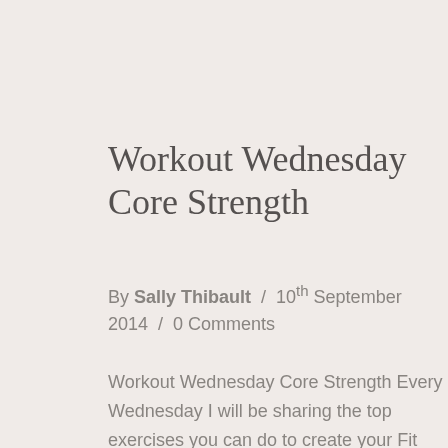Workout Wednesday Core Strength
By Sally Thibault  /  10th September 2014  /  0 Comments
Workout Wednesday Core Strength Every Wednesday I will be sharing the top exercises you can do to create your Fit and Fabulous you! Strength exercise is exceptionally important as we get older, in order to build